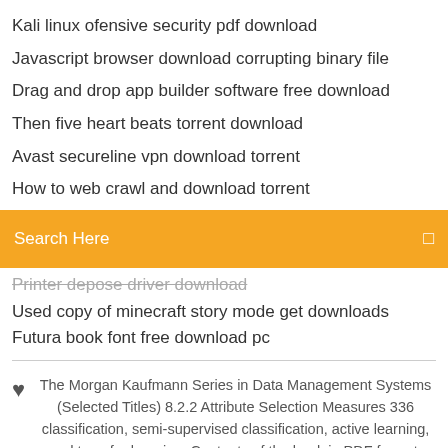Kali linux ofensive security pdf download
Javascript browser download corrupting binary file
Drag and drop app builder software free download
Then five heart beats torrent download
Avast secureline vpn download torrent
How to web crawl and download torrent
[Figure (screenshot): Orange search bar with text 'Search Here' and a search icon on the right]
Printer depose driver download (strikethrough)
Used copy of minecraft story mode get downloads
Futura book font free download pc
The Morgan Kaufmann Series in Data Management Systems (Selected Titles) 8.2.2 Attribute Selection Measures 336 classification, semi-supervised classification, active learning, and transfer learning. Contents of the book in PDF format. steep discount (or even for free) to customers buying selected computers